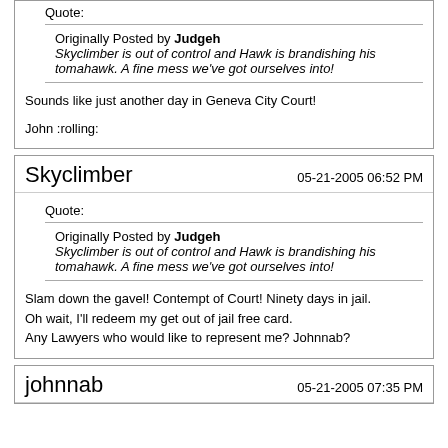Quote: Originally Posted by Judgeh — Skyclimber is out of control and Hawk is brandishing his tomahawk. A fine mess we've got ourselves into!
Sounds like just another day in Geneva City Court!

John :rolling:
Skyclimber — 05-21-2005 06:52 PM
Quote: Originally Posted by Judgeh — Skyclimber is out of control and Hawk is brandishing his tomahawk. A fine mess we've got ourselves into!
Slam down the gavel! Contempt of Court! Ninety days in jail.
Oh wait, I'll redeem my get out of jail free card.
Any Lawyers who would like to represent me? Johnnab?
johnnab — 05-21-2005 07:35 PM